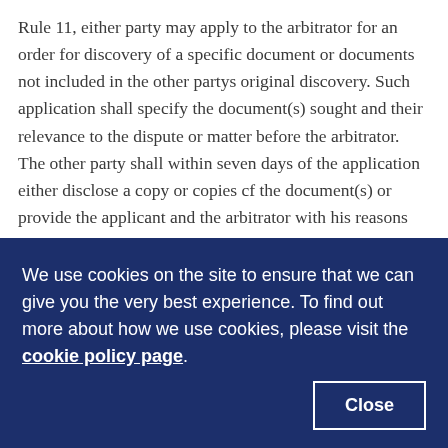Rule 11, either party may apply to the arbitrator for an order for discovery of a specific document or documents not included in the other partys original discovery. Such application shall specify the document(s) sought and their relevance to the dispute or matter before the arbitrator. The other party shall within seven days of the application either disclose a copy or copies cf the document(s) or provide the applicant and the arbitrator with his reasons for not doing so. The applicant shall reply to the arbitrator and the other party within three days of receipt of such objection. The arbitrator shall rule on the issue
We use cookies on the site to ensure that we can give you the very best experience. To find out more about how we use cookies, please visit the cookie policy page.